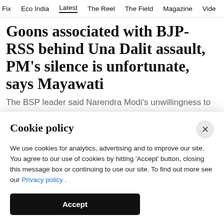Fix  Eco India  Latest  The Reel  The Field  Magazine  Vide
Goons associated with BJP-RSS behind Una Dalit assault, PM's silence is unfortunate, says Mayawati
The BSP leader said Narendra Modi's unwillingness to talk about the incident shows that his party is 'not with the Dalit community'
Cookie policy
We use cookies for analytics, advertising and to improve our site. You agree to our use of cookies by hitting 'Accept' button, closing this message box or continuing to use our site. To find out more see our Privacy policy .
Accept